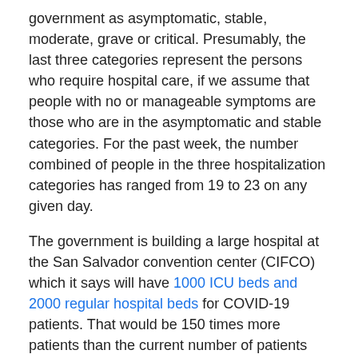government as asymptomatic, stable, moderate, grave or critical. Presumably, the last three categories represent the persons who require hospital care, if we assume that people with no or manageable symptoms are those who are in the asymptomatic and stable categories. For the past week, the number combined of people in the three hospitalization categories has ranged from 19 to 23 on any given day.
The government is building a large hospital at the San Salvador convention center (CIFCO) which it says will have 1000 ICU beds and 2000 regular hospital beds for COVID-19 patients. That would be 150 times more patients than the current number of patients classified as moderate, critical or grave. The impact of the pandemic would need to be much greater than the current situation in El Salvador to fill all those beds.
All of the preceding discussion depends on the credibility of the data presented by the government of El Salvador on its